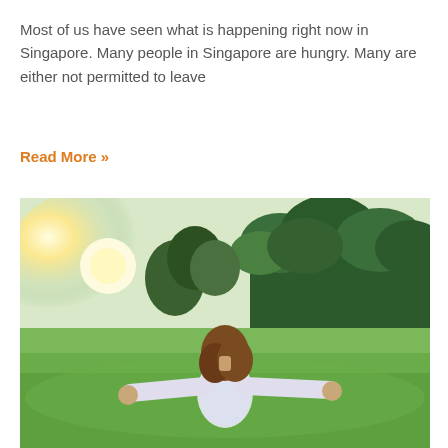Most of us have seen what is happening right now in Singapore. Many people in Singapore are hungry. Many are either not permitted to leave
Read More »
[Figure (photo): A woman in a floral dress standing in a green field with arms outstretched, facing away from the camera, with trees and bright sunlight in the background.]